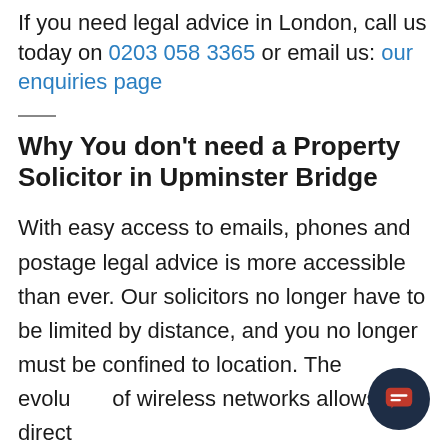If you need legal advice in London, call us today on 0203 058 3365 or email us: our enquiries page
Why You don't need a Property Solicitor in Upminster Bridge
With easy access to emails, phones and postage legal advice is more accessible than ever. Our solicitors no longer have to be limited by distance, and you no longer must be confined to location. The evolu of wireless networks allows for direct